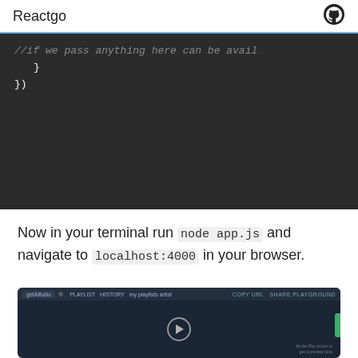Reactgo
[Figure (screenshot): Code editor screenshot showing JavaScript server code with syntax highlighting on dark background. Shows closing braces and server.start(() => console.log('Server is running...'))]
Now in your terminal run node app.js and navigate to localhost:4000 in your browser.
[Figure (screenshot): Screenshot of a media player or podcast interface with a dark theme, showing a play button in the center and navigation controls at the top. A green sidebar element is visible on the right.]